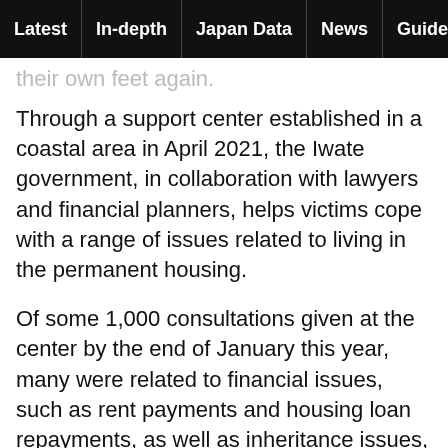Latest | In-depth | Japan Data | News | Guide | Video
their own feet again.
Through a support center established in a coastal area in April 2021, the Iwate government, in collaboration with lawyers and financial planners, helps victims cope with a range of issues related to living in the permanent housing.
Of some 1,000 consultations given at the center by the end of January this year, many were related to financial issues, such as rent payments and housing loan repayments, as well as inheritance issues, because exemptions of medical fee payments ran out in December 2021 following the March 2021 end of the supply of temporary housing. The novel coronavirus pandemic has also had an impact.